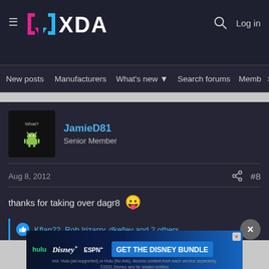XDA Forums header with logo, search, and Log in
New posts | Manufacturers | What's new | Search forums | Members >
JamieD81
Senior Member
Aug 8, 2012  #8
thanks for taking over dagr8 😛
Kflan22, Rob Irizarry, dkelley and 2 others
[Figure (screenshot): Disney Bundle advertisement banner: Hulu, Disney+, ESPN+ logos with GET THE DISNEY BUNDLE call to action]